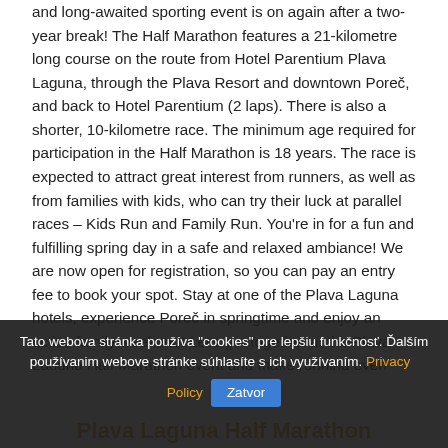and long-awaited sporting event is on again after a two-year break! The Half Marathon features a 21-kilometre long course on the route from Hotel Parentium Plava Laguna, through the Plava Resort and downtown Poreč, and back to Hotel Parentium (2 laps). There is also a shorter, 10-kilometre race. The minimum age required for participation in the Half Marathon is 18 years. The race is expected to attract great interest from runners, as well as from families with kids, who can try their luck at parallel races – Kids Run and Family Run. You're in for a fun and fulfilling spring day in a safe and relaxed ambiance! We are now open for registration, so you can pay an entry fee to book your spot. Stay at one of the Plava Laguna hotels, experience Poreč in springtime and enjoy an active family weekend! Let's get together at the Plava Laguna Half Marathon event and make running even more popular. In the meantime, don't forget to train!
Tato webova stránka používa "cookies" pre lepšiu funkčnosť. Ďalším používanim webove stránke súhlasíte s ich využívaním. Privacy Policy  Zatvor
Plava Laguna Half Marathon